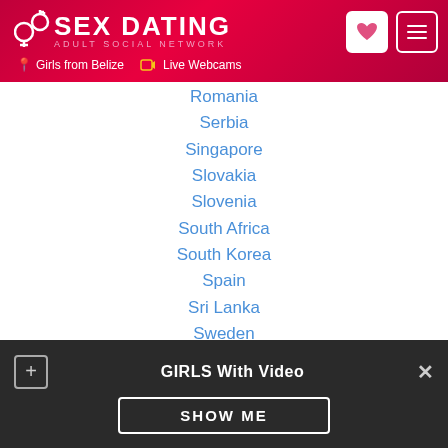[Figure (screenshot): Sex Dating Adult Social Network website header with logo, heart icon button, menu button, Girls from Belize navigation link, and Live Webcams link]
Romania
Serbia
Singapore
Slovakia
Slovenia
South Africa
South Korea
Spain
Sri Lanka
Sweden
Switzerland
Taiwan
Thailand (partially visible)
GIRLS With Video — SHOW ME (popup banner)